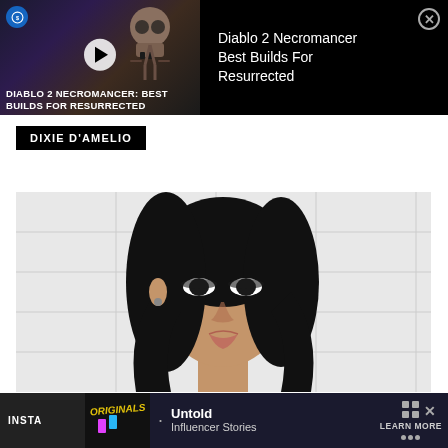[Figure (screenshot): Top advertisement banner for Diablo 2 Necromancer video with dark background, skull figure, play button, and close button]
Diablo 2 Necromancer Best Builds For Resurrected
DIABLO 2 NECROMANCER: BEST BUILDS FOR RESURRECTED
DIXIE D'AMELIO
[Figure (photo): Young woman with long black hair, heavy eye makeup, against white tile background]
INSTA Untold Influencer Stories LEARN MORE